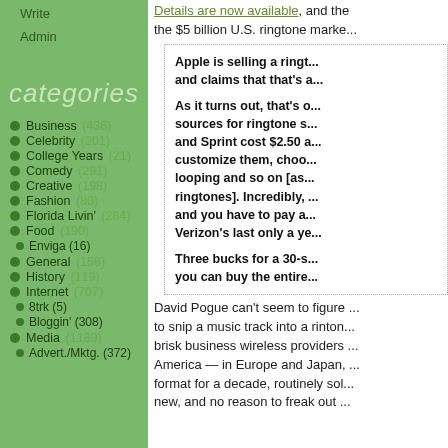Write
Admin
categories
Business (436)
Celebrity (201)
College Years (21)
Comedy (291)
Creative (198)
Fashion (80)
Florida Livin' (284)
Food (190)
Enviga (16)
General (158)
History (119)
Internet (707)
8trk (5)
Bloggin' (308)
Media (1189)
Advert./Mktg. (372)
Details are now available, and the the $5 billion U.S. ringtone marke...
Apple is selling a ringt... and claims that that's a...
As it turns out, that's o... sources for ringtone s... and Sprint cost $2.50 a... customize them, choo... looping and so on [as... ringtones]. Incredibly, ... and you have to pay a... Verizon's last only a ye...
Three bucks for a 30-s... you can buy the entire...
David Pogue can't seem to figure ... to snip a music track into a rinto... brisk business wireless providers ... America — in Europe and Japan, ... format for a decade, routinely sol... new, and no reason to freak out ...